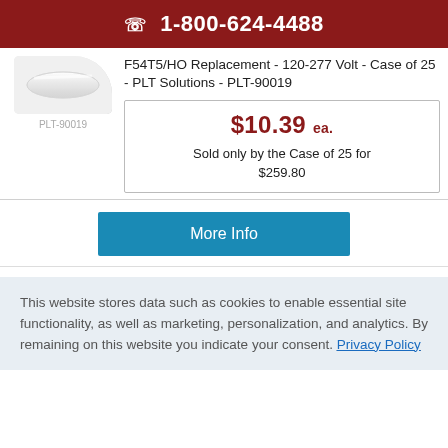☎ 1-800-624-4488
[Figure (photo): White fluorescent tube lamp on white background]
PLT-90019
F54T5/HO Replacement - 120-277 Volt - Case of 25 - PLT Solutions - PLT-90019
$10.39 ea.
Sold only by the Case of 25 for $259.80
More Info
This website stores data such as cookies to enable essential site functionality, as well as marketing, personalization, and analytics. By remaining on this website you indicate your consent. Privacy Policy